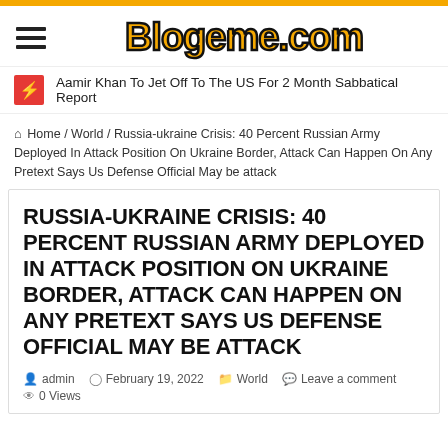Blogeme.com
Aamir Khan To Jet Off To The US For 2 Month Sabbatical Report
Home / World / Russia-ukraine Crisis: 40 Percent Russian Army Deployed In Attack Position On Ukraine Border, Attack Can Happen On Any Pretext Says Us Defense Official May be attack
RUSSIA-UKRAINE CRISIS: 40 PERCENT RUSSIAN ARMY DEPLOYED IN ATTACK POSITION ON UKRAINE BORDER, ATTACK CAN HAPPEN ON ANY PRETEXT SAYS US DEFENSE OFFICIAL MAY BE ATTACK
admin  February 19, 2022  World  Leave a comment  0 Views